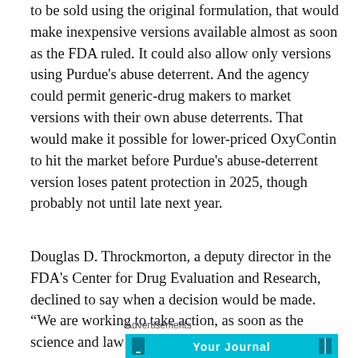to be sold using the original formulation, that would make inexpensive versions available almost as soon as the FDA ruled. It could also allow only versions using Purdue's abuse deterrent. And the agency could permit generic-drug makers to market versions with their own abuse deterrents. That would make it possible for lower-priced OxyContin to hit the market before Purdue's abuse-deterrent version loses patent protection in 2025, though probably not until late next year.
Douglas D. Throckmorton, a deputy director in the FDA's Center for Drug Evaluation and Research, declined to say when a decision would be made. “We are working to take action, as soon as the science and law allow us to do so,” he said.
Advertisements
[Figure (other): Advertisement banner with cyan/teal background showing 'Your Journal' text with a smartphone icon on the left and a book icon on the right.]